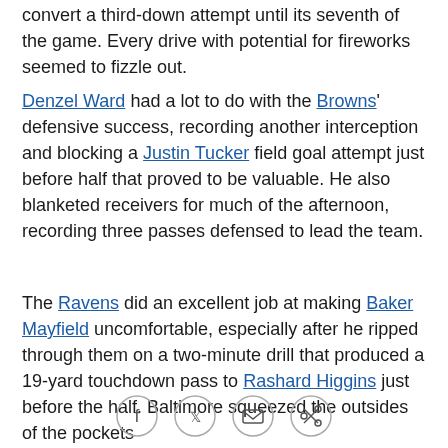convert a third-down attempt until its seventh of the game. Every drive with potential for fireworks seemed to fizzle out.
Denzel Ward had a lot to do with the Browns' defensive success, recording another interception and blocking a Justin Tucker field goal attempt just before half that proved to be valuable. He also blanketed receivers for much of the afternoon, recording three passes defensed to lead the team.
The Ravens did an excellent job at making Baker Mayfield uncomfortable, especially after he ripped through them on a two-minute drill that produced a 19-yard touchdown pass to Rashard Higgins just before the half. Baltimore squeezed the outsides of the pockets ...